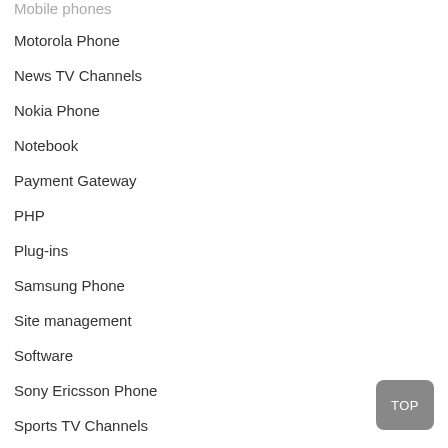Mobile phones
Motorola Phone
News TV Channels
Nokia Phone
Notebook
Payment Gateway
PHP
Plug-ins
Samsung Phone
Site management
Software
Sony Ericsson Phone
Sports TV Channels